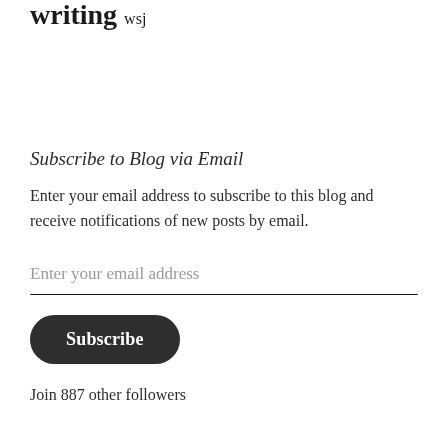writing wsj
Subscribe to Blog via Email
Enter your email address to subscribe to this blog and receive notifications of new posts by email.
Enter your email address
Subscribe
Join 887 other followers